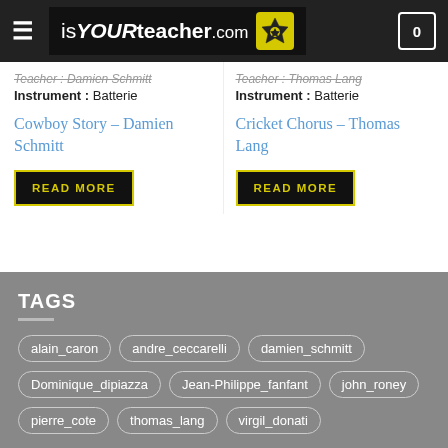isYOURteacher.com
Teacher : Damien Schmitt
Instrument : Batterie
Teacher : Thomas Lang
Instrument : Batterie
Cowboy Story – Damien Schmitt
Cricket Chorus – Thomas Lang
READ MORE
READ MORE
TAGS
alain_caron
andre_ceccarelli
damien_schmitt
Dominique_dipiazza
Jean-Philippe_fanfant
john_roney
pierre_cote
thomas_lang
virgil_donati